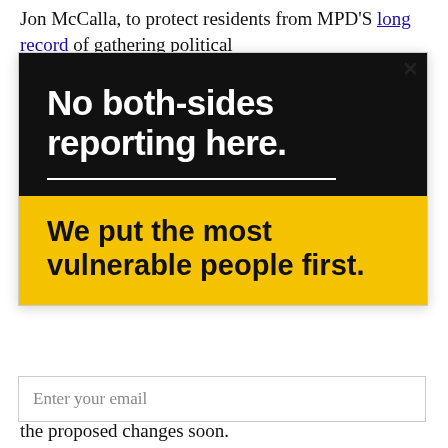Jon McCalla, to protect residents from MPD'S long record of gathering political
[Figure (infographic): Advertisement with two sections: black top half with white bold text 'No both-sides reporting here.' and a white horizontal divider line; yellow bottom half with black bold text 'We put the most vulnerable people first.' A close (X) button is in the top-right corner.]
Enter your email
the proposed changes soon.